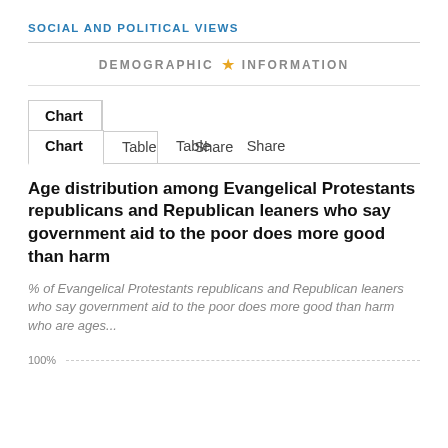SOCIAL AND POLITICAL VIEWS
DEMOGRAPHIC ★ INFORMATION
Age distribution among Evangelical Protestants republicans and Republican leaners who say government aid to the poor does more good than harm
% of Evangelical Protestants republicans and Republican leaners who say government aid to the poor does more good than harm who are ages...
100%